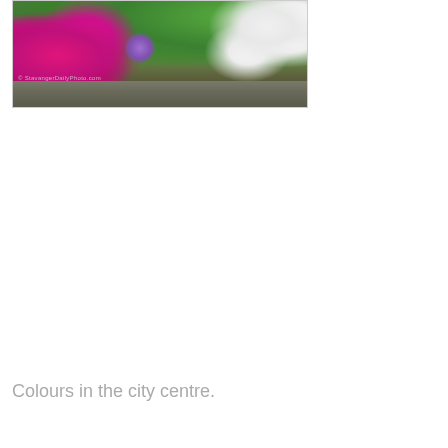[Figure (photo): A photo of colourful flowers in a stone planter in the city centre. Pink/magenta petunias on the left, white flowers on the right, green foliage, stone wall base. Watermark reads '© StavangerDailyPhoto.com'.]
Colours in the city centre.